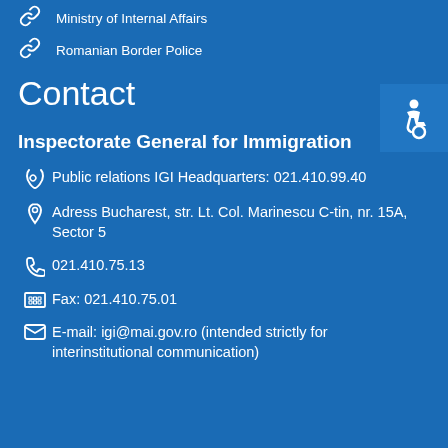Ministry of Internal Affairs
Romanian Border Police
Contact
Inspectorate General for Immigration
Public relations IGI Headquarters: 021.410.99.40
Adress Bucharest, str. Lt. Col. Marinescu C-tin, nr. 15A, Sector 5
021.410.75.13
Fax: 021.410.75.01
E-mail: igi@mai.gov.ro (intended strictly for interinstitutional communication)